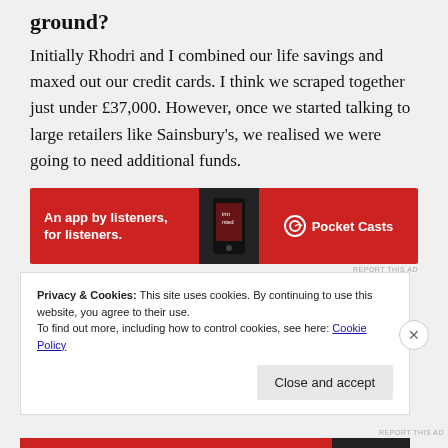ground?
Initially Rhodri and I combined our life savings and maxed out our credit cards. I think we scraped together just under £37,000. However, once we started talking to large retailers like Sainsbury's, we realised we were going to need additional funds.
[Figure (infographic): Red advertisement banner for Pocket Casts app. Text reads 'An app by listeners, for listeners.' with Pocket Casts logo on the right.]
REPORT THIS AD
Privacy & Cookies: This site uses cookies. By continuing to use this website, you agree to their use.
To find out more, including how to control cookies, see here: Cookie Policy
Close and accept